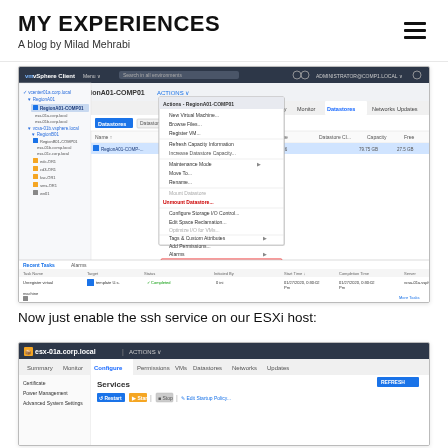MY EXPERIENCES
A blog by Milad Mehrabi
[Figure (screenshot): vSphere Client screenshot showing RegionA01-COMP01 host with Datastores tab open and a right-click context menu visible with options including 'Unmount Datastore...' and 'Delete Datastore' highlighted in red]
Now just enable the ssh service on our ESXi host:
[Figure (screenshot): ESXi host esx-01a.corp.local screenshot showing Configure tab with Services section open, including Restart, Start, Stop buttons and Edit Startup Policy option, with a REFRESH button in the top right]